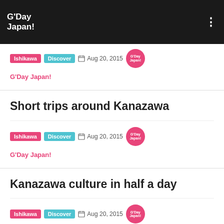G'Day Japan!
Family fun in Ishikawa's Kaga area
Ishikawa  Discover  Aug 20, 2015  G'Day Japan!
G'Day Japan!
Short trips around Kanazawa
Ishikawa  Discover  Aug 20, 2015  G'Day Japan!
G'Day Japan!
Kanazawa culture in half a day
Ishikawa  Discover  Aug 20, 2015  G'Day Japan!
G'Day Japan!